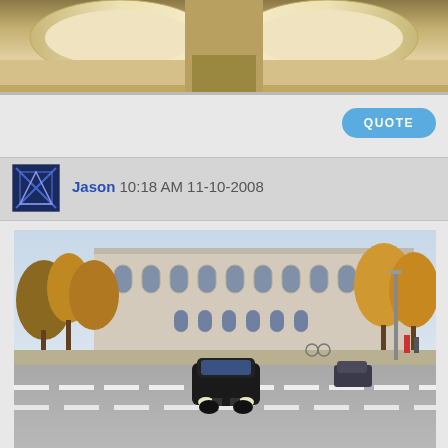[Figure (photo): Car interior showing cream/beige leather seats and headrests viewed from rear]
QUOTE
Jason 10:18 AM 11-10-2008
[Figure (photo): Street scene with a dark BMW sedan driving on a wide road, historic building with autumn trees in background, Munich city street]